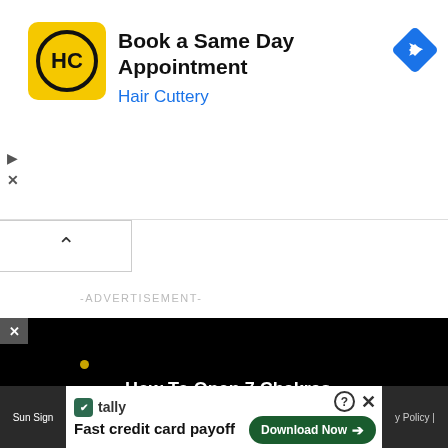[Figure (screenshot): Hair Cuttery advertisement banner with logo, 'Book a Same Day Appointment' heading, 'Hair Cuttery' subtitle in blue, navigation arrow icon, play and close buttons on left side]
[Figure (screenshot): Collapse/minimize chevron button area]
-ADVERTISEMENT-
[Figure (screenshot): Video player with black background showing 'How To Open 7 Chakras - Meditation and Healing - SunSigns.Org' title text and circular graphic element]
[Figure (screenshot): Bottom advertisement bar: 'Sun Sign' dark label on left, Tally app ad with 'Fast credit card payoff' text, Download Now button, help and close icons, Privacy Policy text on right]